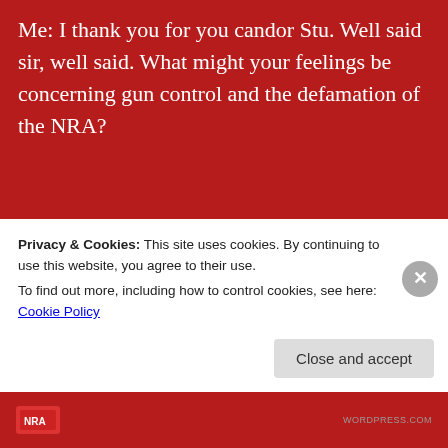Me: I thank you for you candor Stu. Well said sir, well said. What might your feelings be concerning gun control and the defamation of the NRA?
[Figure (screenshot): DayOne app advertisement banner showing smartphone with journal app interface, brand name DAYONE, tagline 'Your Journal for life', and 'Get the app' button]
Privacy & Cookies: This site uses cookies. By continuing to use this website, you agree to their use.
To find out more, including how to control cookies, see here: Cookie Policy
Close and accept